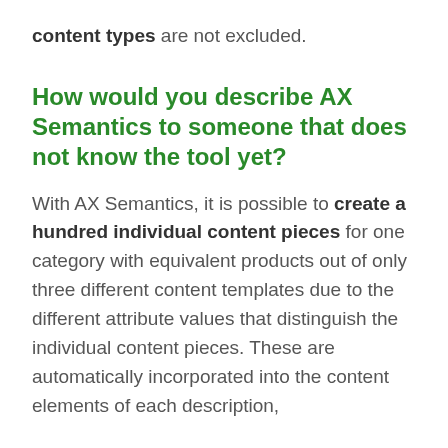content types are not excluded.
How would you describe AX Semantics to someone that does not know the tool yet?
With AX Semantics, it is possible to create a hundred individual content pieces for one category with equivalent products out of only three different content templates due to the different attribute values that distinguish the individual content pieces. These are automatically incorporated into the content elements of each description,